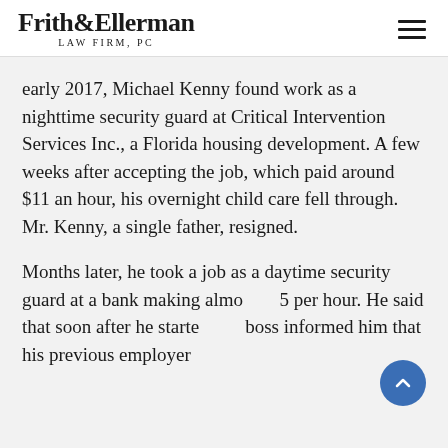Frith & Ellerman LAW FIRM, PC
early 2017, Michael Kenny found work as a nighttime security guard at Critical Intervention Services Inc., a Florida housing development. A few weeks after accepting the job, which paid around $11 an hour, his overnight child care fell through. Mr. Kenny, a single father, resigned.
Months later, he took a job as a daytime security guard at a bank making almost $15 per hour. He said that soon after he started, his boss informed him that his previous employer